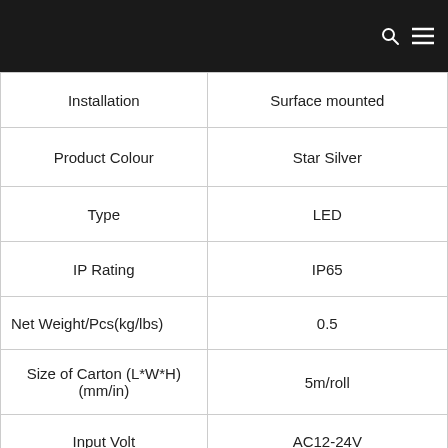| Installation | Surface mounted |
| Product Colour | Star Silver |
| Type | LED |
| IP Rating | IP65 |
| Net Weight/Pcs(kg/lbs) | 0.5 |
| Size of Carton (L*W*H) (mm/in) | 5m/roll |
| Input Volt | AC12-24V |
| Color | Star Silver |